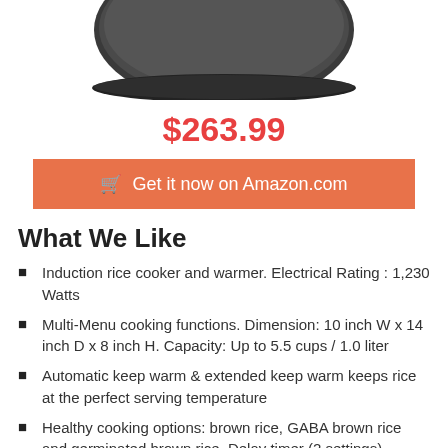[Figure (photo): Bottom portion of a dark gray/black rice cooker product image, showing the base of the appliance against a white background.]
$263.99
Get it now on Amazon.com
What We Like
Induction rice cooker and warmer. Electrical Rating : 1,230 Watts
Multi-Menu cooking functions. Dimension: 10 inch W x 14 inch D x 8 inch H. Capacity: Up to 5.5 cups / 1.0 liter
Automatic keep warm & extended keep warm keeps rice at the perfect serving temperature
Healthy cooking options: brown rice, GABA brown rice and germinated brown rice. Delay timer (2 settings) , Electrical Rating – 120 volts